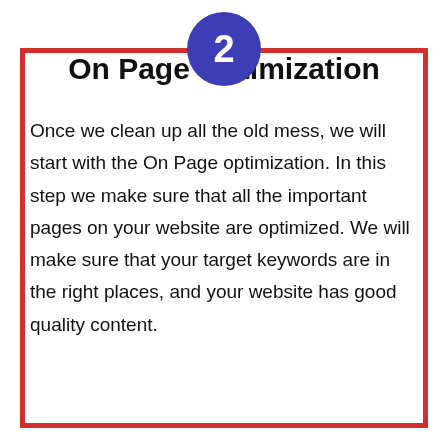2
On Page Optimization
Once we clean up all the old mess, we will start with the On Page optimization. In this step we make sure that all the important pages on your website are optimized. We will make sure that your target keywords are in the right places, and your website has good quality content.